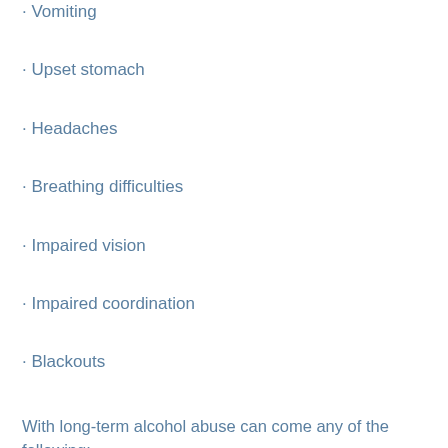· Vomiting
· Upset stomach
· Headaches
· Breathing difficulties
· Impaired vision
· Impaired coordination
· Blackouts
With long-term alcohol abuse can come any of the following:
· Alcohol poisoning
· High blood pressure